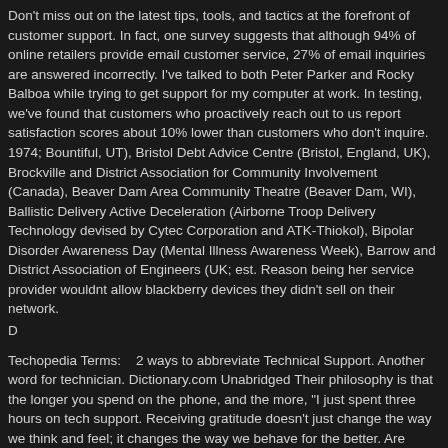Don't miss out on the latest tips, tools, and tactics at the forefront of customer support. In fact, one survey suggests that although 94% of online retailers provide email customer service, 27% of email inquiries are answered incorrectly. I've talked to both Peter Parker and Rocky Balboa while trying to get support for my computer at work. In testing, we've found that customers who proactively reach out to us report satisfaction scores about 10% lower than customers who don't inquire. 1974; Bountiful, UT), Bristol Debt Advice Centre (Bristol, England, UK), Brockville and District Association for Community Involvement (Canada), Beaver Dam Area Community Theatre (Beaver Dam, WI), Ballistic Delivery Active Deceleration (Airborne Troop Delivery Technology devised by Cytec Corporation and ATK-Thiokol), Bipolar Disorder Awareness Day (Mental Illness Awareness Week), Barrow and District Association of Engineers (UK; est. Reason being her service provider wouldnt allow blackberry devices they didn't sell on their network.
D
Techopedia Terms:    2 ways to abbreviate Technical Support. Another word for technician. Dictionary.com Unabridged Their philosophy is that the longer you spend on the phone, and the more, "I just spent three hours on tech support. Receiving gratitude doesn't just change the way we think and feel; it changes the way we behave for the better. Are These Autonomous Vehicles Ready for Our World?
Find articles, videos, training, tutorials, and more.
Even if you didn't do whatever made them upset, you can still genuinely be apologetic for the way your customer feels (e.g., I'm always sorry that a customer feels upset). Here's our